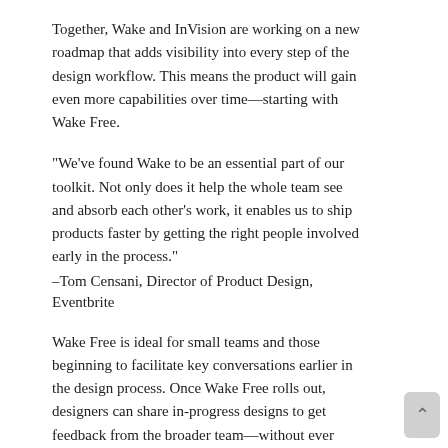Together, Wake and InVision are working on a new roadmap that adds visibility into every step of the design workflow. This means the product will gain even more capabilities over time—starting with Wake Free.
“We’ve found Wake to be an essential part of our toolkit. Not only does it help the whole team see and absorb each other’s work, it enables us to ship products faster by getting the right people involved early in the process.”
–Tom Censani, Director of Product Design, Eventbrite
Wake Free is ideal for small teams and those beginning to facilitate key conversations earlier in the design process. Once Wake Free rolls out, designers can share in-progress designs to get feedback from the broader team—without ever having to leave the design tool. This new version will include:
Unlimited uploads. You’ll be able to share as much as you want, whenever you want